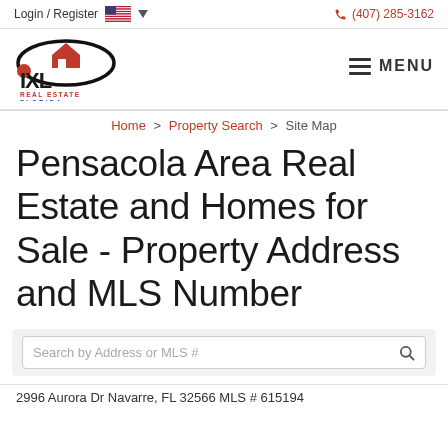Login / Register  (407) 285-3162
[Figure (logo): IXL Real Estate Florida logo with stylized house and orbit graphic in red, black, and blue]
MENU
Home > Property Search > Site Map
Pensacola Area Real Estate and Homes for Sale - Property Address and MLS Number
Search by Address or MLS #
2996 Aurora Dr Navarre, FL 32566 MLS # 615194